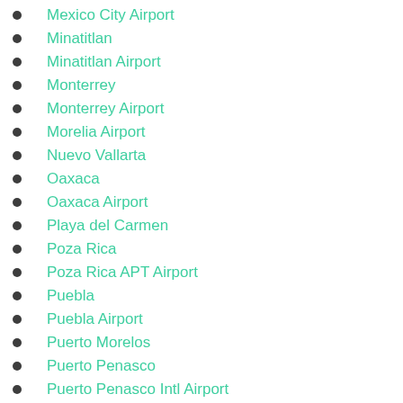Mexico City Airport
Minatitlan
Minatitlan Airport
Monterrey
Monterrey Airport
Morelia Airport
Nuevo Vallarta
Oaxaca
Oaxaca Airport
Playa del Carmen
Poza Rica
Poza Rica APT Airport
Puebla
Puebla Airport
Puerto Morelos
Puerto Penasco
Puerto Penasco Intl Airport